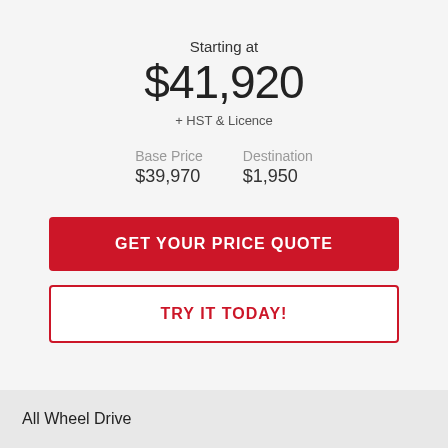Starting at
$41,920
+ HST & Licence
| Base Price | Destination |
| --- | --- |
| $39,970 | $1,950 |
GET YOUR PRICE QUOTE
TRY IT TODAY!
All Wheel Drive